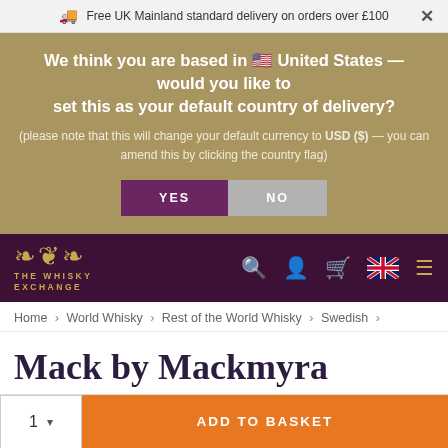Free UK Mainland standard delivery on orders over £100
We think you are based in 🇺🇸 United States — would you like to set this as your default country of delivery? (please note that this will change your default currency to USD ($) — you can amend this by clicking the country flag)
YES
NO
[Figure (logo): The Whisky Exchange logo — gold emblem with crown and lions, text THE WHISKY EXCHANGE]
Home › World Whisky › Rest of the World Whisky › Swedish ›
Mack by Mackmyra
Swedish Single Malt Whisky
1  ADD TO BASKET